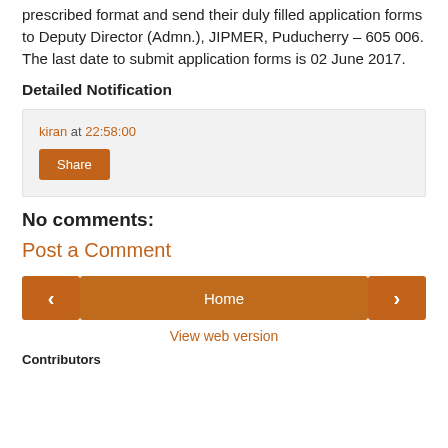Eligible candidates can apply to the post through the prescribed format and send their duly filled application forms to Deputy Director (Admn.), JIPMER, Puducherry – 605 006. The last date to submit application forms is 02 June 2017.
Detailed Notification
kiran at 22:58:00
Share
No comments:
Post a Comment
Home
View web version
Contributors